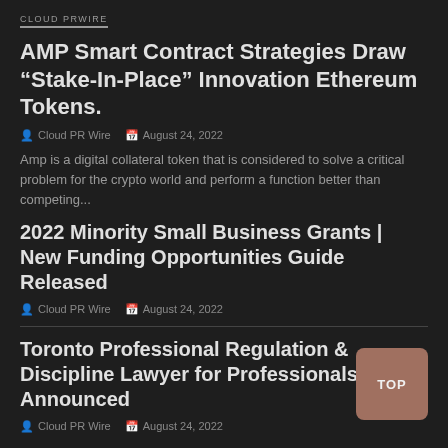CLOUD PRWIRE
AMP Smart Contract Strategies Draw “Stake-In-Place” Innovation Ethereum Tokens.
Cloud PR Wire   August 24, 2022
Amp is a digital collateral token that is considered to solve a critical problem for the crypto world and perform a function better than competing...
2022 Minority Small Business Grants | New Funding Opportunities Guide Released
Cloud PR Wire   August 24, 2022
Toronto Professional Regulation & Discipline Lawyer for Professionals Announced
Cloud PR Wire   August 24, 2022